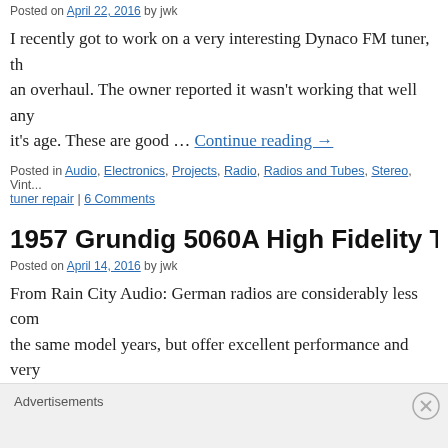Posted on April 22, 2016 by jwk
I recently got to work on a very interesting Dynaco FM tuner, th... an overhaul. The owner reported it wasn't working that well any... it's age. These are good … Continue reading →
Posted in Audio, Electronics, Projects, Radio, Radios and Tubes, Stereo, Vint... tuner repair | 6 Comments
1957 Grundig 5060A High Fidelity Tube R...
Posted on April 14, 2016 by jwk
From Rain City Audio: German radios are considerably less com... the same model years, but offer excellent performance and very ... 5060A from 1957 does just that, offering AM Broadcast, two Sh...
→
Advertisements